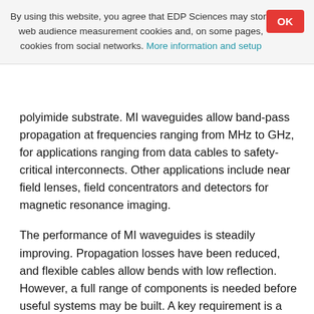By using this website, you agree that EDP Sciences may store web audience measurement cookies and, on some pages, cookies from social networks. More information and setup
polyimide substrate. MI waveguides allow band-pass propagation at frequencies ranging from MHz to GHz, for applications ranging from data cables to safety-critical interconnects. Other applications include near field lenses, field concentrators and detectors for magnetic resonance imaging.
The performance of MI waveguides is steadily improving. Propagation losses have been reduced, and flexible cables allow bends with low reflection. However, a full range of components is needed before useful systems may be built. A key requirement is a simple method of connecting magneto-inductive and conventional systems. Since the characteristic impedance of a MI waveguide is both frequency-dependent and complex, this is not an easy task. This paper describes a